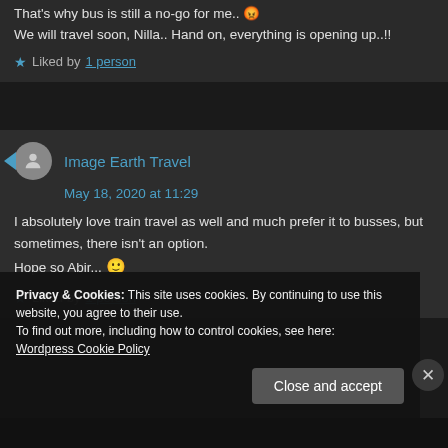That's why bus is still a no-go for me.. 😡
We will travel soon, Nilla.. Hand on, everything is opening up..!!
★ Liked by 1 person
Image Earth Travel
May 18, 2020 at 11:29
I absolutely love train travel as well and much prefer it to busses, but sometimes, there isn't an option.
Hope so Abir... 🙂
★ Liked by 1 person
Privacy & Cookies: This site uses cookies. By continuing to use this website, you agree to their use.
To find out more, including how to control cookies, see here: Wordpress Cookie Policy
Close and accept